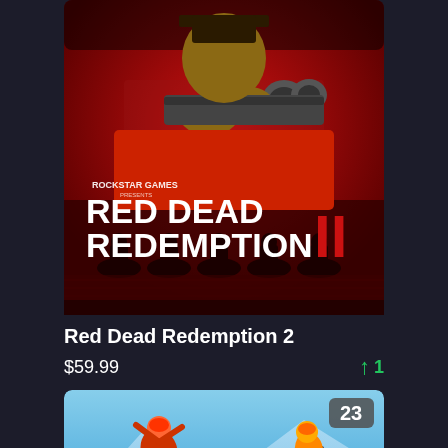[Figure (photo): Red Dead Redemption 2 game cover art showing a cowboy pointing a shotgun toward the viewer with silhouetted riders on horseback at the bottom and the Rockstar Games logo]
Red Dead Redemption 2
$59.99   ↑ 1
[Figure (photo): Extreme sports game cover showing a snowboarder and a mountain biker mid-air with a blue sky background. Badge showing number 23 in the top right corner.]